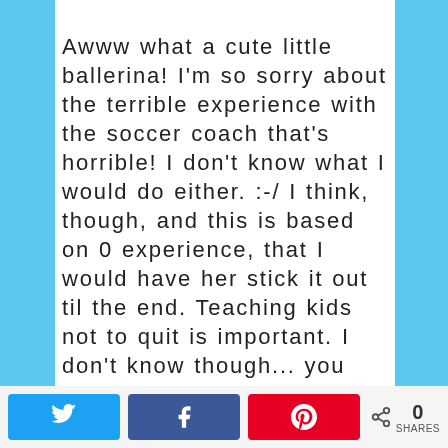Awww what a cute little ballerina! I'm so sorry about the terrible experience with the soccer coach that's horrible! I don't know what I would do either. :-/ I think, though, and this is based on 0 experience, that I would have her stick it out til the end. Teaching kids not to quit is important. I don't know though... you don't want your kid to be miserable. Ug sometimes parenting is hard! LOL
This website uses cookies to improve your experience. We'll assume you're ok with this, but you can opt-out if you wish.
[Figure (infographic): Social sharing bar with Twitter, Facebook, Pinterest buttons and a share count showing 0 SHARES]